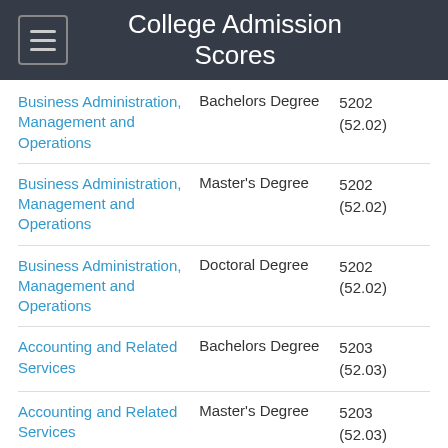College Admission Scores
|  |  |  |
| --- | --- | --- |
| Business Administration, Management and Operations | Bachelors Degree | 5202 (52.02) |
| Business Administration, Management and Operations | Master's Degree | 5202 (52.02) |
| Business Administration, Management and Operations | Doctoral Degree | 5202 (52.02) |
| Accounting and Related Services | Bachelors Degree | 5203 (52.03) |
| Accounting and Related Services | Master's Degree | 5203 (52.03) |